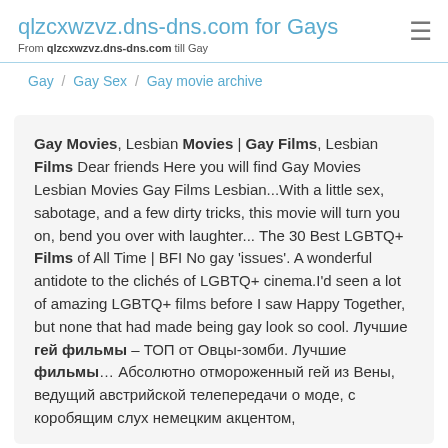qlzcxwzvz.dns-dns.com for Gays
From qlzcxwzvz.dns-dns.com till Gay
Gay / Gay Sex / Gay movie archive
Gay Movies, Lesbian Movies | Gay Films, Lesbian Films Dear friends Here you will find Gay Movies Lesbian Movies Gay Films Lesbian...With a little sex, sabotage, and a few dirty tricks, this movie will turn you on, bend you over with laughter... The 30 Best LGBTQ+ Films of All Time | BFI No gay 'issues'. A wonderful antidote to the clichés of LGBTQ+ cinema.I'd seen a lot of amazing LGBTQ+ films before I saw Happy Together, but none that had made being gay look so cool. Лучшие гей фильмы – ТОП от Овцы-зомби. Лучшие фильмы… Абсолютно отмороженный гей из Вены, ведущий австрийской телепередачи о моде, с коробящим слух немецким акцентом,